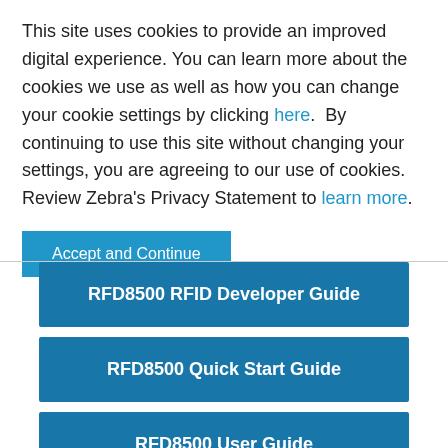This site uses cookies to provide an improved digital experience. You can learn more about the cookies we use as well as how you can change your cookie settings by clicking here.  By continuing to use this site without changing your settings, you are agreeing to our use of cookies. Review Zebra's Privacy Statement to learn more.
Accept and Continue
RFD8500 RFID Developer Guide
RFD8500 Quick Start Guide
RFD8500 User Guide